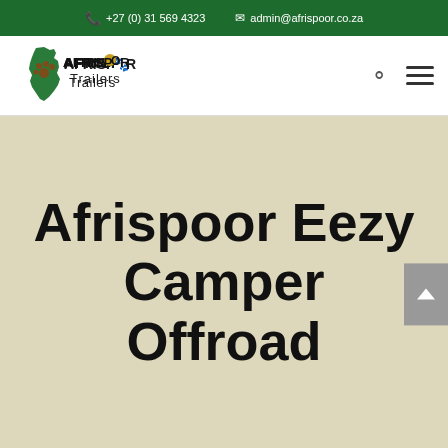+27 (0) 31 569 4323   admin@afrispoor.co.za
[Figure (logo): Afrispoor Trailers logo with Africa continent silhouette in green and brown paw print]
Afrispoor Eezy Camper Offroad